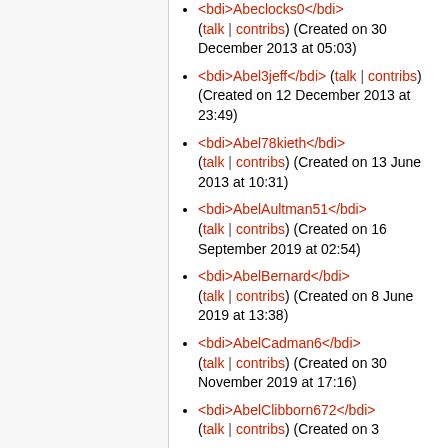<bdi>Abeclocks0</bdi> (talk | contribs) (Created on 30 December 2013 at 05:03)
<bdi>Abel3jeff</bdi> (talk | contribs) (Created on 12 December 2013 at 23:49)
<bdi>Abel78kieth</bdi> (talk | contribs) (Created on 13 June 2013 at 10:31)
<bdi>AbelAultman51</bdi> (talk | contribs) (Created on 16 September 2019 at 02:54)
<bdi>AbelBernard</bdi> (talk | contribs) (Created on 8 June 2019 at 13:38)
<bdi>AbelCadman6</bdi> (talk | contribs) (Created on 30 November 2019 at 17:16)
<bdi>AbelClibborn672</bdi> (talk | contribs) (Created on ...